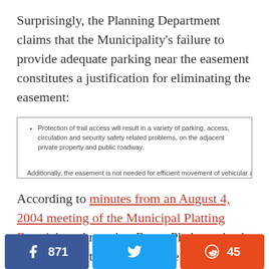Surprisingly, the Planning Department claims that the Municipality's failure to provide adequate parking near the easement constitutes a justification for eliminating the easement:
Protection of trail access will result in a variety of parking, access, circulation and security safety related problems, on the adjacent private property and public roadway. Additionally, the easement is not needed for efficient movement of vehicular and pedestrian...
According to minutes from an August 4, 2004 meeting of the Municipal Platting Board, board member Bruce Phelps voiced strong support for vacating the easement: “Public access to the lake
871  [Facebook share button]  [Twitter share button]  45 [Reddit share button]